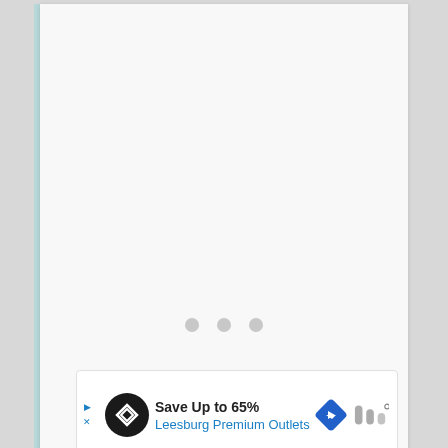[Figure (other): A nearly blank white document page with a teal/light blue vertical bar on the left edge and three small light gray loading dots in the center, indicating a loading state.]
[Figure (other): Advertisement banner at the bottom: 'Save Up to 65% Leesburg Premium Outlets' with a black circular logo with infinity-like symbol, a blue diamond navigation arrow icon, and a gray TMC logo on the right. Small blue arrow and X controls on left edge.]